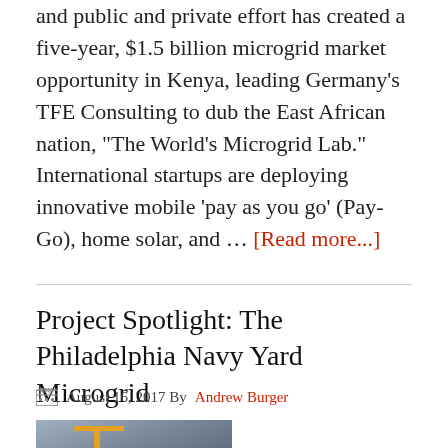and public and private effort has created a five-year, $1.5 billion microgrid market opportunity in Kenya, leading Germany's TFE Consulting to dub the East African nation, "The World's Microgrid Lab." International startups are deploying innovative mobile 'pay as you go' (Pay-Go), home solar, and … [Read more...]
Project Spotlight: The Philadelphia Navy Yard Microgrid
August 16, 2017 By Andrew Burger
[Figure (photo): Construction/urban scene photo, likely showing the Philadelphia Navy Yard with a crane and buildings visible]